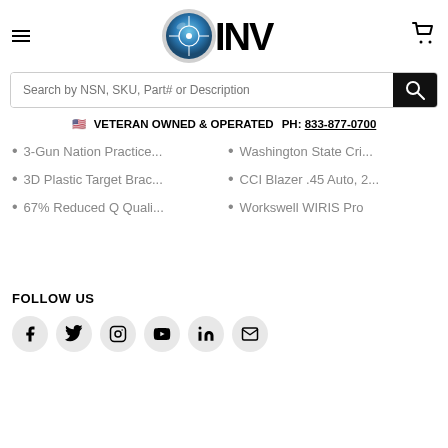CINV logo with hamburger menu and cart icon
Search by NSN, SKU, Part# or Description
VETERAN OWNED & OPERATED  PH: 833-877-0700
3-Gun Nation Practice...
Washington State Cri...
3D Plastic Target Brac...
CCI Blazer .45 Auto, 2...
67% Reduced Q Quali...
Workswell WIRIS Pro
FOLLOW US
[Figure (infographic): Social media icons row: Facebook, Twitter, Instagram, YouTube, LinkedIn, Email]